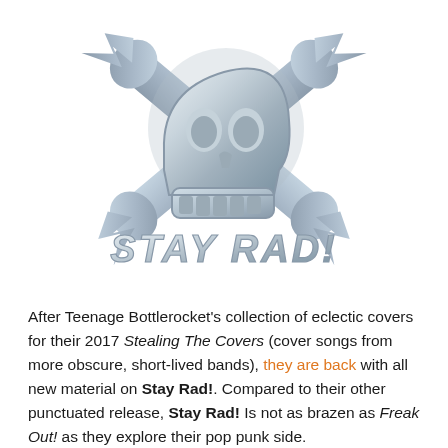[Figure (logo): Skull and crossbones logo with metallic silver finish and crossed guitar necks/bones, with 'Stay Rad!' text in a stylized chrome font below the skull]
After Teenage Bottlerocket's collection of eclectic covers for their 2017 Stealing The Covers (cover songs from more obscure, short-lived bands), they are back with all new material on Stay Rad!. Compared to their other punctuated release, Stay Rad! Is not as brazen as Freak Out! as they explore their pop punk side.